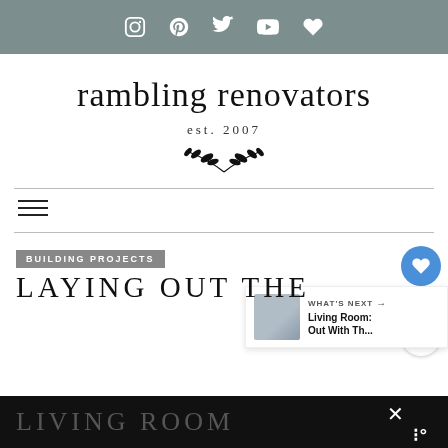[Social media icons: Instagram, Pinterest, Twitter, YouTube, Heart]
rambling renovators
est. 2007
[Figure (illustration): Decorative leaf/laurel branch icon]
[Figure (other): Hamburger menu icon (three horizontal lines)]
[Figure (other): Blue circular heart/like button with count 1, and share button]
BUILDING PROJECTS
LAYING OUT THE LIVING ROOM
[Figure (other): WHAT'S NEXT panel with thumbnail: Living Room: Out With Th...]